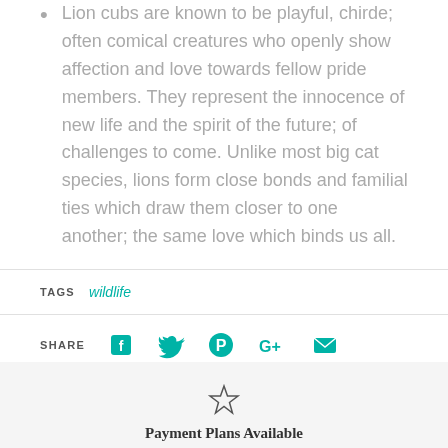Lion cubs are known to be playful, chirde; often comical creatures who openly show affection and love towards fellow pride members. They represent the innocence of new life and the spirit of the future; of challenges to come. Unlike most big cat species, lions form close bonds and familial ties which draw them closer to one another; the same love which binds us all.
TAGS  wildlife
SHARE [Facebook] [Twitter] [Pinterest] [Google+] [Email]
Payment Plans Available